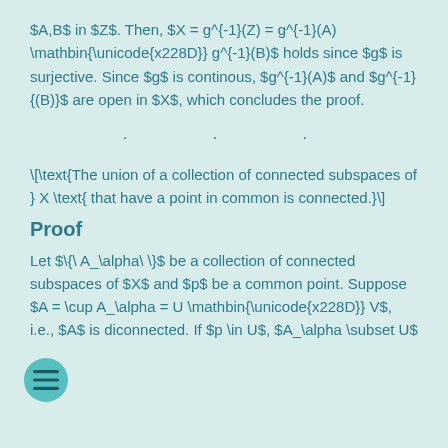$A,B$ in $Z$. Then, $X = g^{-1}(Z) = g^{-1}(A) \mathbin{\unicode{x228D}} g^{-1}(B)$ holds since $g$ is surjective. Since $g$ is continous, $g^{-1}(A)$ and $g^{-1}(B)$ are open in $X$, which concludes the proof.
· · ·
Proof
Let $\{ A_\alpha \}$ be a collection of connected subspaces of $X$ and $p$ be a common point. Suppose $A = \cup A_\alpha = U \mathbin{\unicode{x228D}} V$, i.e., $A$ is diconnected. If $p \in U$, $A_\alpha \subset U$